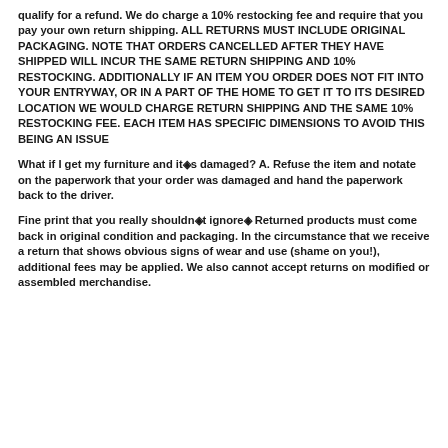qualify for a refund. We do charge a 10% restocking fee and require that you pay your own return shipping. ALL RETURNS MUST INCLUDE ORIGINAL PACKAGING. NOTE THAT ORDERS CANCELLED AFTER THEY HAVE SHIPPED WILL INCUR THE SAME RETURN SHIPPING AND 10% RESTOCKING. ADDITIONALLY IF AN ITEM YOU ORDER DOES NOT FIT INTO YOUR ENTRYWAY, OR IN A PART OF THE HOME TO GET IT TO ITS DESIRED LOCATION WE WOULD CHARGE RETURN SHIPPING AND THE SAME 10% RESTOCKING FEE. EACH ITEM HAS SPECIFIC DIMENSIONS TO AVOID THIS BEING AN ISSUE
What if I get my furniture and it�s damaged? A. Refuse the item and notate on the paperwork that your order was damaged and hand the paperwork back to the driver.
Fine print that you really shouldn�t ignore� Returned products must come back in original condition and packaging. In the circumstance that we receive a return that shows obvious signs of wear and use (shame on you!), additional fees may be applied. We also cannot accept returns on modified or assembled merchandise.